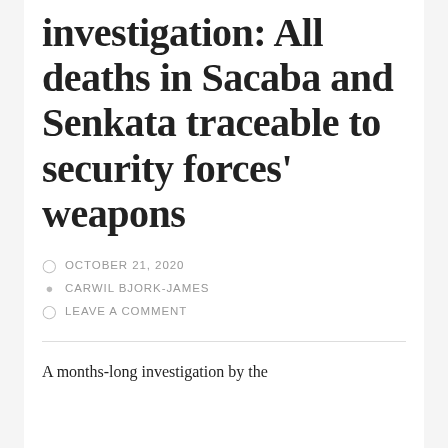investigation: All deaths in Sacaba and Senkata traceable to security forces' weapons
OCTOBER 21, 2020
CARWIL BJORK-JAMES
LEAVE A COMMENT
A months-long investigation by the